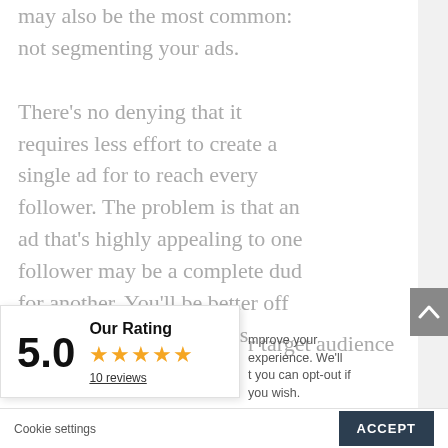may also be the most common: not segmenting your ads.
There’s no denying that it requires less effort to create a single ad for to reach every follower. The problem is that an ad that’s highly appealing to one follower may be a complete dud for another. You’ll be better off thinking about the various
r target audience
[Figure (other): Rating widget showing 5.0 score with 5 gold stars, label 'Our Rating', and '10 reviews' link]
mprove your experience. We’ll t you can opt-out if you wish.
Powered by Review Grower
Cookie settings
ACCEPT